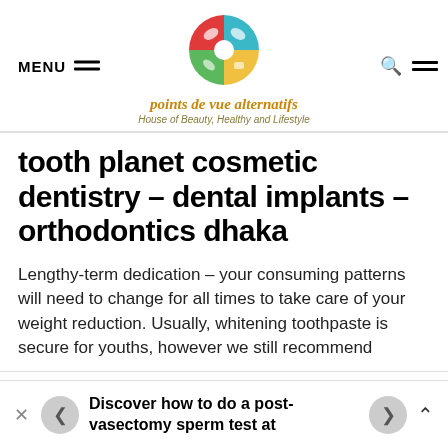MENU | points de vue alternatifs | House of Beauty, Healthy and Lifestyle
tooth planet cosmetic dentistry – dental implants – orthodontics dhaka
Lengthy-term dedication – your consuming patterns will need to change for all times to take care of your weight reduction. Usually, whitening toothpaste is secure for youths, however we still recommend
Discover how to do a post-vasectomy sperm test at